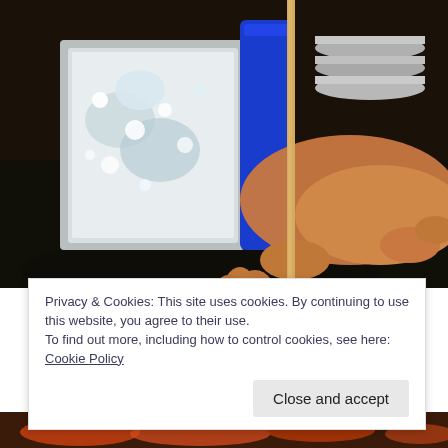[Figure (photo): A person inserting a wooden skewer/stick into a small red candy apple or cake pop. There is a blue container with white sugary substance in the background on a dark surface.]
Privacy & Cookies: This site uses cookies. By continuing to use this website, you agree to their use.
To find out more, including how to control cookies, see here: Cookie Policy
[Figure (photo): Partial view of food items at the bottom of the page.]